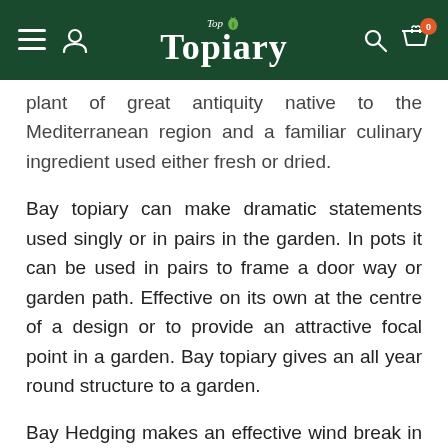Top Topiary
plant of great antiquity native to the Mediterranean region and a familiar culinary ingredient used either fresh or dried.
Bay topiary can make dramatic statements used singly or in pairs in the garden. In pots it can be used in pairs to frame a door way or garden path. Effective on its own at the centre of a design or to provide an attractive focal point in a garden. Bay topiary gives an all year round structure to a garden.
Bay Hedging makes an effective wind break in warmer areas. It tolerates hard pruning.